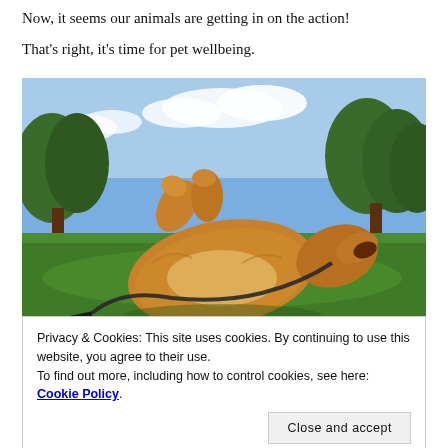Now, it seems our animals are getting in on the action!
That's right, it's time for pet wellbeing.
[Figure (photo): A golden retriever rolling on its back on green grass in a park, with trees and a blue sky in the background. The dog is on a black leash and appears to be playing and enjoying itself.]
Privacy & Cookies: This site uses cookies. By continuing to use this website, you agree to their use.
To find out more, including how to control cookies, see here: Cookie Policy
Close and accept